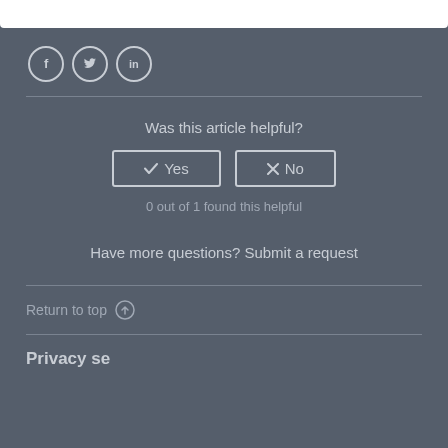[Figure (other): White top bar area at the top of the page]
[Figure (other): Social media icons: Facebook (f), Twitter (bird), LinkedIn (in) as circular outlined icons]
Was this article helpful?
✓ Yes   ✗ No (vote buttons)
0 out of 1 found this helpful
Have more questions? Submit a request
Return to top ↑
Privacy settings